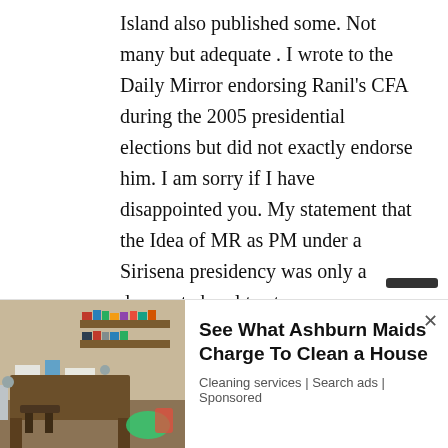Island also published some. Not many but adequate . I wrote to the Daily Mirror endorsing Ranil's CFA during the 2005 presidential elections but did not exactly endorse him. I am sorry if I have disappointed you. My statement that the Idea of MR as PM under a Sirisena presidency was only a desperate howl to stress my despondency over the betrayal by this lot. I began writing regularly when I got a computer . Do not ask me when ? I don't remember. Dont pick on me. Pick on Ranil. For starters , ask him to give an account of his tryst with MR in Temple
[Figure (photo): A messy room with cluttered desk, shelves, and various items scattered around — used as advertisement image for a house cleaning service.]
See What Ashburn Maids Charge To Clean a House
Cleaning services | Search ads | Sponsored